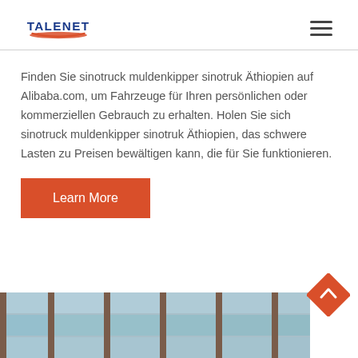TALENET
Finden Sie sinotruck muldenkipper sinotruk Äthiopien auf Alibaba.com, um Fahrzeuge für Ihren persönlichen oder kommerziellen Gebrauch zu erhalten. Holen Sie sich sinotruck muldenkipper sinotruk Äthiopien, das schwere Lasten zu Preisen bewältigen kann, die für Sie funktionieren.
[Figure (other): Learn More button (orange/red background with white text)]
[Figure (photo): Building exterior with glass facade, partial view at bottom of page]